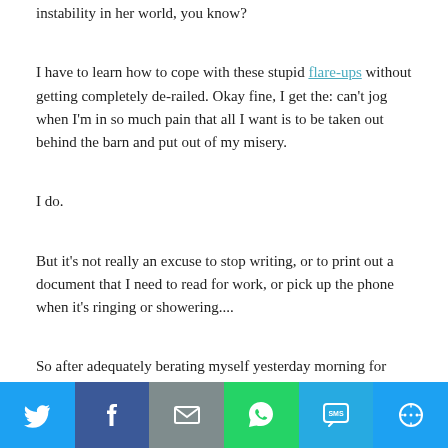instability in her world, you know?
I have to learn how to cope with these stupid flare-ups without getting completely de-railed. Okay fine, I get the: can't jog when I'm in so much pain that all I want is to be taken out behind the barn and put out of my misery.
I do.
But it's not really an excuse to stop writing, or to print out a document that I need to read for work, or pick up the phone when it's ringing or showering....
So after adequately berating myself yesterday morning for screwing up my budget, not exercising enough (at all), forgetting my childrens' names, not blogging enough, blah blah blah, I forced myself to take a walk through the house in the spirit of a mini I-survived-and-more.
Look, I told myself. This is the living room you finally unpacked, after moving in this JULY.
[Figure (infographic): Social media share bar with six buttons: Twitter (blue), Facebook (dark blue), Email (gray), WhatsApp (green), SMS (light blue), More (blue)]